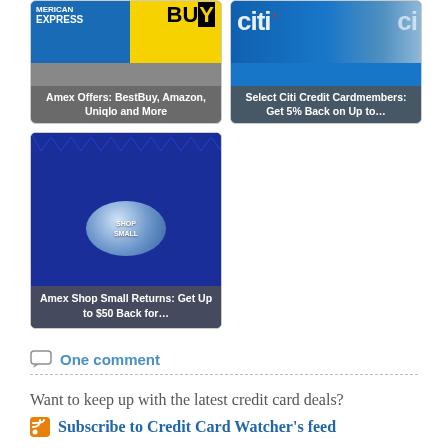[Figure (illustration): Card link image: Amex Offers BestBuy, Amazon, Uniqlo and More - showing American Express and Best Buy logos]
Amex Offers: BestBuy, Amazon, Uniqlo and More
[Figure (illustration): Card link image: Select Citi Credit Cardmembers: Get 5% Back on Up to... - showing Citi logo]
Select Citi Credit Cardmembers: Get 5% Back on Up to…
[Figure (illustration): Card link image: Amex Shop Small Returns: Get Up to $50 Back for... - showing Shop Small logo on blue background]
Amex Shop Small Returns: Get Up to $50 Back for…
One comment
Want to keep up with the latest credit card deals?
Subscribe to Credit Card Watcher's feed